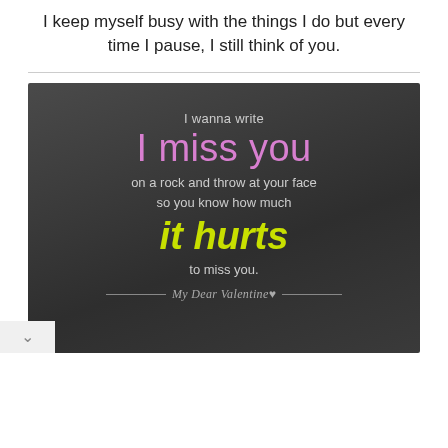I keep myself busy with the things I do but every time I pause, I still think of you.
[Figure (illustration): Dark grey gradient card with romantic/miss-you quote text in multiple colors and fonts, signed 'My Dear Valentine' with decorative lines. Text reads: 'I wanna write / I miss you / on a rock and throw at your face / so you know how much / it hurts / to miss you.']